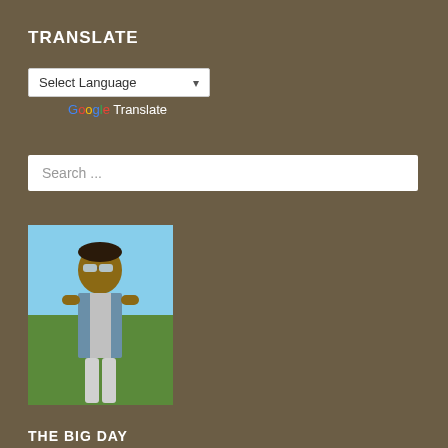TRANSLATE
Select Language ▾
Google Translate
Search ...
[Figure (photo): A young woman wearing aviator sunglasses and a denim vest, smiling, standing outdoors on a grassy field with a clear blue sky in the background.]
THE BIG DAY